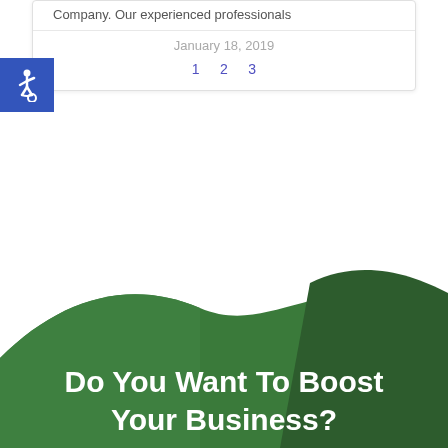Company. Our experienced professionals
January 18, 2019
1   2   3
[Figure (illustration): Blue square accessibility icon with wheelchair symbol]
[Figure (illustration): Green mountain/hill shaped background graphic with darker green faceted right section]
Do You Want To Boost Your Business?